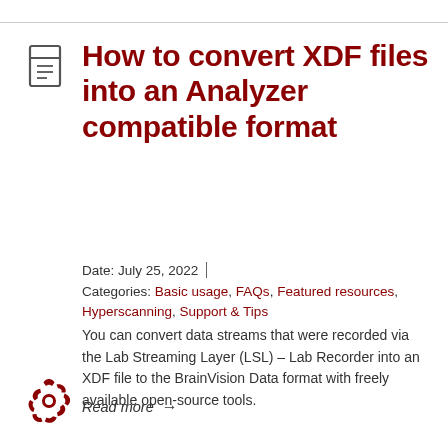How to convert XDF files into an Analyzer compatible format
Date: July 25, 2022
Categories: Basic usage, FAQs, Featured resources, Hyperscanning, Support & Tips
You can convert data streams that were recorded via the Lab Streaming Layer (LSL) – Lab Recorder into an XDF file to the BrainVision Data format with freely available open-source tools.
Read more →